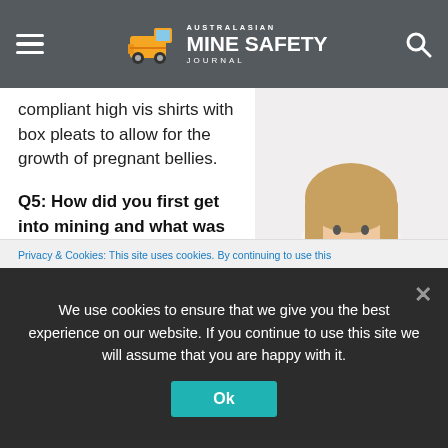Australasian Mine Safety Journal
compliant high vis shirts with box pleats to allow for the growth of pregnant bellies.
Q5: How did you first get into mining and what was your line of work?
I started my career in the Resource sector as a Commercial Graduate with
[Figure (photo): Pregnant woman wearing an orange high-visibility long-sleeve shirt with reflective strips and blue jeans, cradling her belly with both hands against a white background.]
Privacy & Cookies: This site uses cookies. By continuing to use this
We use cookies to ensure that we give you the best experience on our website. If you continue to use this site we will assume that you are happy with it.
Ok